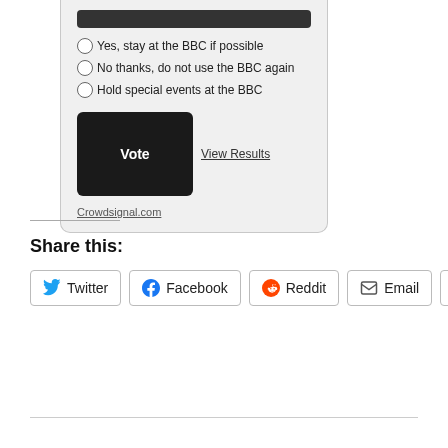[Figure (other): A poll widget with radio button options: 'Yes, stay at the BBC if possible', 'No thanks, do not use the BBC again', 'Hold special events at the BBC'. Has a Vote button, View Results link, and Crowdsignal.com attribution.]
Share this:
Twitter
Facebook
Reddit
Email
More